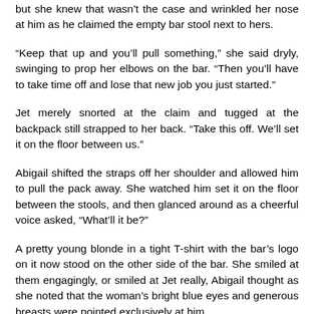but she knew that wasn't the case and wrinkled her nose at him as he claimed the empty bar stool next to hers.
“Keep that up and you’ll pull something,” she said dryly, swinging to prop her elbows on the bar. “Then you’ll have to take time off and lose that new job you just started.”
Jet merely snorted at the claim and tugged at the backpack still strapped to her back. “Take this off. We’ll set it on the floor between us.”
Abigail shifted the straps off her shoulder and allowed him to pull the pack away. She watched him set it on the floor between the stools, and then glanced around as a cheerful voice asked, “What’ll it be?”
A pretty young blonde in a tight T-shirt with the bar’s logo on it now stood on the other side of the bar. She smiled at them engagingly, or smiled at Jet really, Abigail thought as she noted that the woman’s bright blue eyes and generous breasts were pointed exclusively at him.
Jet smiled faintly at the woman, but then turned to Abigail. “Long